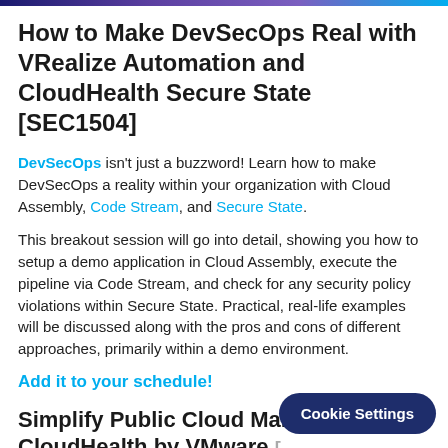How to Make DevSecOps Real with VRealize Automation and CloudHealth Secure State [SEC1504]
DevSecOps isn't just a buzzword! Learn how to make DevSecOps a reality within your organization with Cloud Assembly, Code Stream, and Secure State.
This breakout session will go into detail, showing you how to setup a demo application in Cloud Assembly, execute the pipeline via Code Stream, and check for any security policy violations within Secure State. Practical, real-life examples will be discussed along with the pros and cons of different approaches, primarily within a demo environment.
Add it to your schedule!
Simplify Public Cloud Man... CloudHealth by VMware [...]